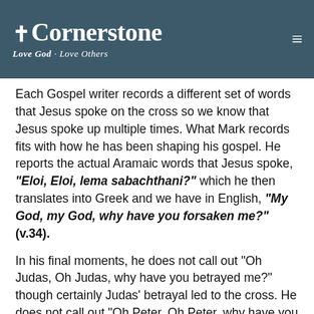Cornerstone | Love God · Love Others
Each Gospel writer records a different set of words that Jesus spoke on the cross so we know that Jesus spoke up multiple times. What Mark records fits with how he has been shaping his gospel. He reports the actual Aramaic words that Jesus spoke, "Eloi, Eloi, lema sabachthani?" which he then translates into Greek and we have in English, "My God, my God, why have you forsaken me?" (v.34).
In his final moments, he does not call out "Oh Judas, Oh Judas, why have you betrayed me?" though certainly Judas' betrayal led to the cross. He does not call out "Oh Peter, Oh Peter, why have you..."